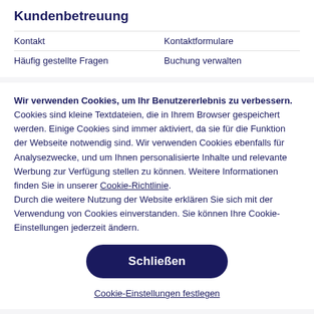Kundenbetreuung
Kontakt
Kontaktformulare
Häufig gestellte Fragen
Buchung verwalten
Wir verwenden Cookies, um Ihr Benutzererlebnis zu verbessern. Cookies sind kleine Textdateien, die in Ihrem Browser gespeichert werden. Einige Cookies sind immer aktiviert, da sie für die Funktion der Webseite notwendig sind. Wir verwenden Cookies ebenfalls für Analysezwecke, und um Ihnen personalisierte Inhalte und relevante Werbung zur Verfügung stellen zu können. Weitere Informationen finden Sie in unserer Cookie-Richtlinie. Durch die weitere Nutzung der Website erklären Sie sich mit der Verwendung von Cookies einverstanden. Sie können Ihre Cookie-Einstellungen jederzeit ändern.
Schließen
Cookie-Einstellungen festlegen